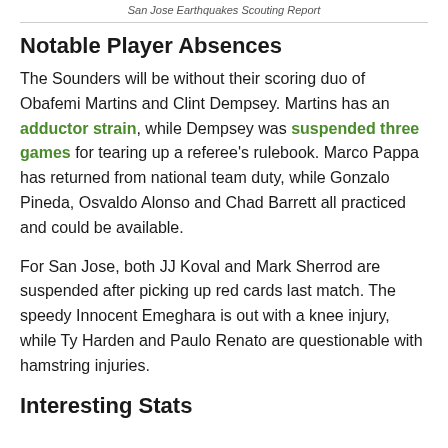San Jose Earthquakes Scouting Report
Notable Player Absences
The Sounders will be without their scoring duo of Obafemi Martins and Clint Dempsey. Martins has an adductor strain, while Dempsey was suspended three games for tearing up a referee's rulebook. Marco Pappa has returned from national team duty, while Gonzalo Pineda, Osvaldo Alonso and Chad Barrett all practiced and could be available.
For San Jose, both JJ Koval and Mark Sherrod are suspended after picking up red cards last match. The speedy Innocent Emeghara is out with a knee injury, while Ty Harden and Paulo Renato are questionable with hamstring injuries.
Interesting Stats